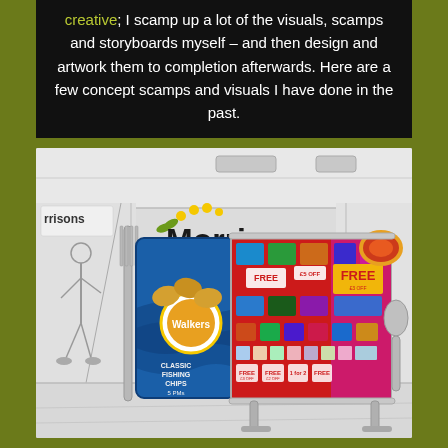creative; I scamp up a lot of the visuals, scamps and storyboards myself – and then design and artwork them to completion afterwards. Here are a few concept scamps and visuals I have done in the past.
[Figure (illustration): A concept visual/scamp showing a Morrisons supermarket display unit. The illustration features the Morrisons logo with yellow dots on a sketched store background with people walking. The display shows a large Walkers crisps packet on the left and a promotional display board with red and pink promotional offers including 'FREE' and '£5 OFF' text on the right, framed by a giant fork and spoon.]